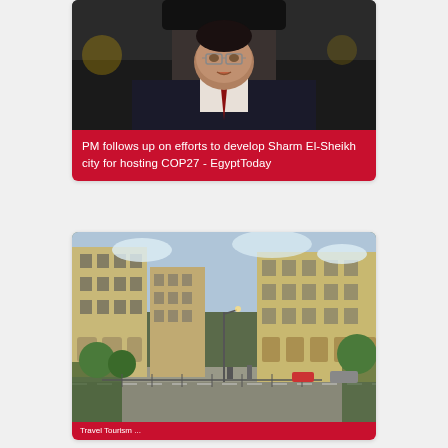[Figure (photo): Close-up photo of a man in a dark suit and tie, wearing glasses, speaking or presenting. Background appears to be an official setting.]
PM follows up on efforts to develop Sharm El-Sheikh city for hosting COP27 - EgyptToday
[Figure (photo): Street-level photo of a city square with large yellow/beige multi-story buildings, pedestrians, and vehicles. Urban scene with trees and a plaza in the foreground.]
Travel Tourism...